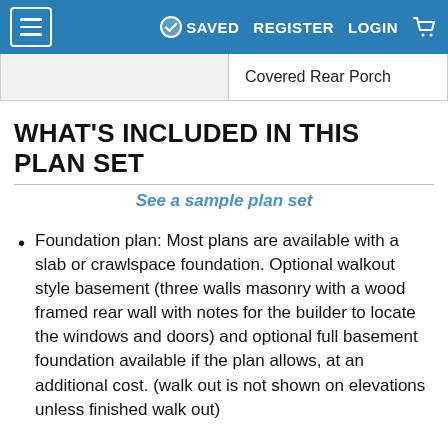≡  SAVED  REGISTER  LOGIN  🛒
|  | Covered Rear Porch |
WHAT'S INCLUDED IN THIS PLAN SET
See a sample plan set
Foundation plan: Most plans are available with a slab or crawlspace foundation. Optional walkout style basement (three walls masonry with a wood framed rear wall with notes for the builder to locate the windows and doors) and optional full basement foundation available if the plan allows, at an additional cost. (walk out is not shown on elevations unless finished walk out)